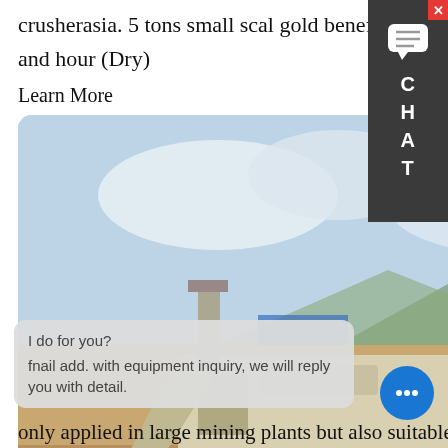crusherasia. 5 tons small scal gold beneficiation process. Small Wash Plant can process 5 yards and hour (Dry)
Learn More
[Figure (photo): Outdoor photo of a small-scale mobile gold mining/crushing plant on a dirt site, with mountains and trees in the background and an excavator visible on the right.]
small scale benefication
benefication small gold mining machine, beneficiation small gold mining machine for sale. Mining Equipment fnail add. with equipment inquiry, we will reply you with detail. only applied in large mining plants but also suitable